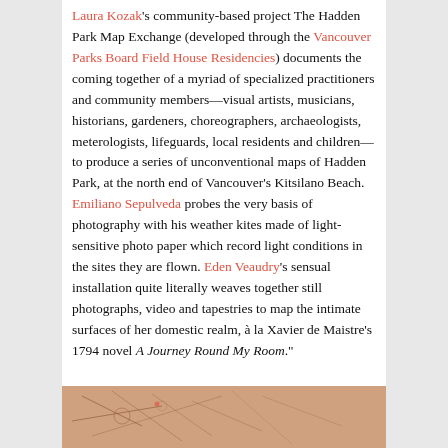Laura Kozak's community-based project The Hadden Park Map Exchange (developed through the Vancouver Parks Board Field House Residencies) documents the coming together of a myriad of specialized practitioners and community members—visual artists, musicians, historians, gardeners, choreographers, archaeologists, meterologists, lifeguards, local residents and children—to produce a series of unconventional maps of Hadden Park, at the north end of Vancouver's Kitsilano Beach. Emiliano Sepulveda probes the very basis of photography with his weather kites made of light-sensitive photo paper which record light conditions in the sites they are flown. Eden Veaudry's sensual installation quite literally weaves together still photographs, video and tapestries to map the intimate surfaces of her domestic realm, à la Xavier de Maistre's 1794 novel A Journey Round My Room."
[Figure (photo): Partial view of a warm-toned illustration or artwork with beige/tan background, showing sketch-like lines suggesting a map or artistic drawing.]